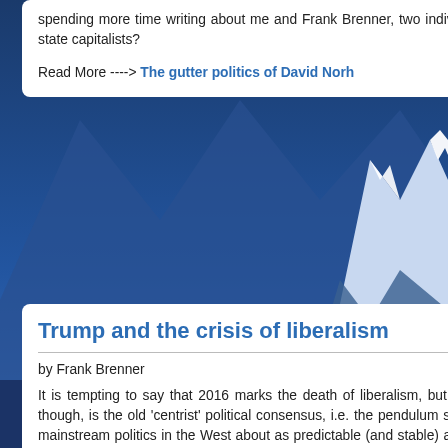spending more time writing about me and Frank Brenner, two individuals, than about the Stalinists, Pabloites and state capitalists?
Read More ----> The gutter politics of David Norh
Trump and the crisis of liberalism
by Frank Brenner
It is tempting to say that 2016 marks the death of liberalism, but that's probably wishful thinking. What is dead, though, is the old 'centrist' political consensus, i.e. the pendulum swings from centre-left to centre-right that made mainstream politics in the West about as predictable (and stable) as an old grandfather clock. Now the swings are much more extreme - or rather the swings to the right are. (One might add that what led up to this was a major shift rightward of the 'center' itself from Reagan/Thatcher on – what Tariq Ali rightly dubbed the "extreme center".
Fox News an
“Cultural Mar accused of s manifesto, th Marxism” rep significant ex
We can add explosive dev
How is “Cultu good definitic slaughter of h
“Classical M the state,” he privileges to t carnage again will.”
The first tir dates back to next few yea Civilization qu